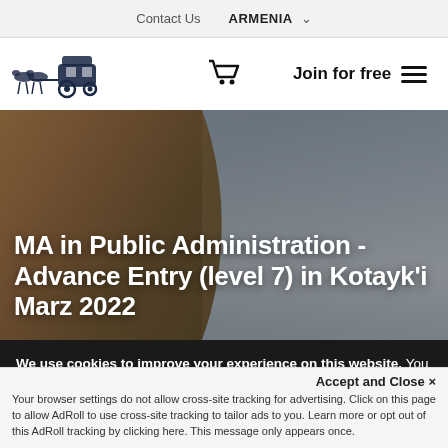Contact Us   ARMENIA ▾
[Figure (logo): Horse-drawn carriage logo (dark navy illustration)]
[Figure (illustration): Shopping cart icon]
Join for free  ≡
[Figure (photo): Smiling woman looking out a car window; hero banner image]
MA in Public Administration - Advance Entry (level 7) in Kotayk'i Marz 2022
We use cookies to improve your experience on this website. You can learn more about how and why we use cookies in our cookie policy. By using this website, you agree to the use of cookies.
Accept and Close ✕
Your browser settings do not allow cross-site tracking for advertising. Click on this page to allow AdRoll to use cross-site tracking to tailor ads to you. Learn more or opt out of this AdRoll tracking by clicking here. This message only appears once.